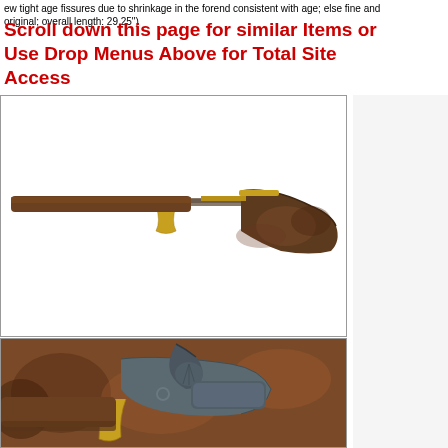ew tight age fissures due to shrinkage in the forend consistent with age; else fine and original; overall length: 29.25")
Scroll down this page for similar Items or Use Drop Menus Above for Total Site Access
[Figure (photo): Antique rifle shown in full side profile view, featuring a mottled dark wood stock with brass hardware and trigger guard]
[Figure (photo): Close-up detail of the antique rifle's lock mechanism, showing the percussion cap lock with decorative engraving, brass trigger guard, and figured wood stock]
[Figure (photo): Close-up of the top of the antique rifle barrel and action, showing the hammer and barrel top detail]